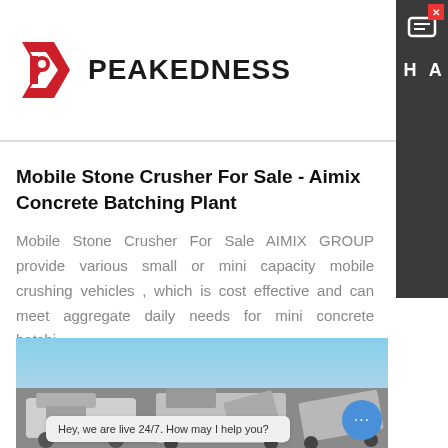[Figure (logo): Peakedness logo with red arrow/P icon and bold black PEAKEDNESS text]
Mobile Stone Crusher For Sale - Aimix Concrete Batching Plant
Mobile Stone Crusher For Sale AIMIX GROUP provide various small or mini capacity mobile crushing vehicles , which is cost effective and can meet aggregate daily needs for mini concrete batchi…
Learn More
[Figure (photo): Mobile stone crusher machines on a construction site with blue sky background]
Hey, we are live 24/7. How may I help you?